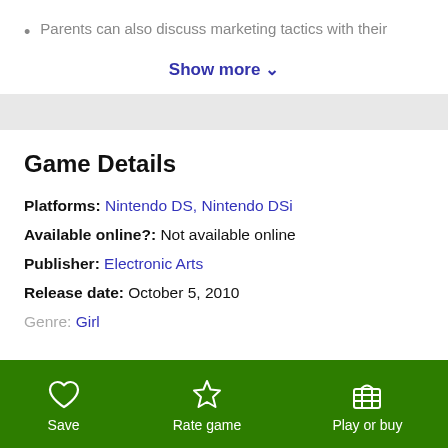Parents can also discuss marketing tactics with their
Show more ∨
Game Details
Platforms: Nintendo DS, Nintendo DSi
Available online?: Not available online
Publisher: Electronic Arts
Release date: October 5, 2010
Genre: Girl
Show more ∨
Save  Rate game  Play or buy